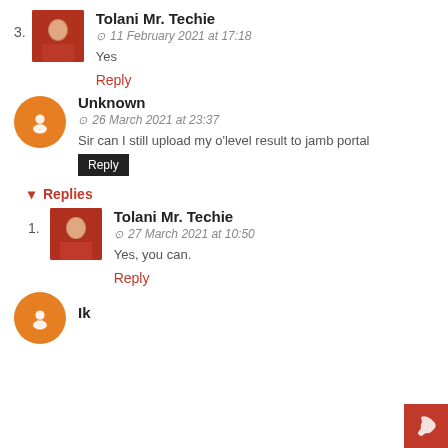3. Tolani Mr. Techie — 11 February 2021 at 17:18 — Yes — Reply
Unknown — 26 March 2021 at 23:37 — Sir can I still upload my o'level result to jamb portal — Reply
Replies
1. Tolani Mr. Techie — 27 March 2021 at 10:50 — Yes, you can. — Reply
Ik